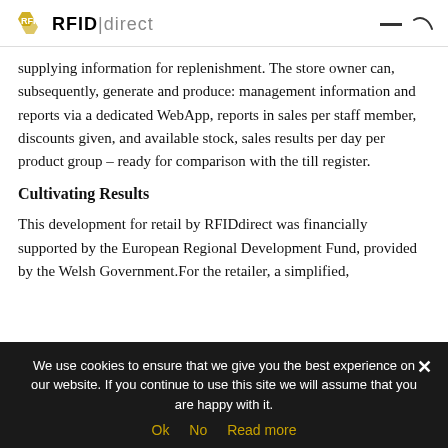RFID|direct
supplying information for replenishment. The store owner can, subsequently, generate and produce: management information and reports via a dedicated WebApp, reports in sales per staff member, discounts given, and available stock, sales results per day per product group – ready for comparison with the till register.
Cultivating Results
This development for retail by RFIDdirect was financially supported by the European Regional Development Fund, provided by the Welsh Government.For the retailer, a simplified,
We use cookies to ensure that we give you the best experience on our website. If you continue to use this site we will assume that you are happy with it.
Ok   No   Read more